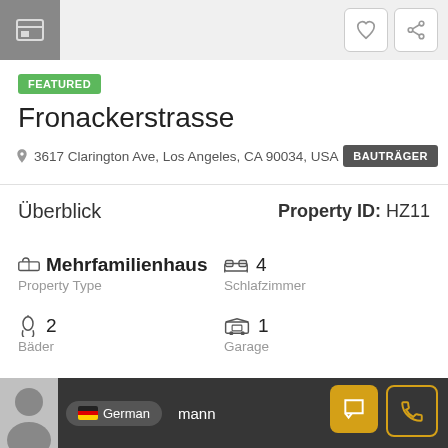[Figure (screenshot): Top bar with icon button on left and two icon buttons (heart/share) on right]
FEATURED
Fronackerstrasse
3617 Clarington Ave, Los Angeles, CA 90034, USA
BAUTRÄGER
Überblick
Property ID: HZ11
Mehrfamilienhaus
Property Type
4
Schlafzimmer
2
Bäder
1
Garage
German  mann